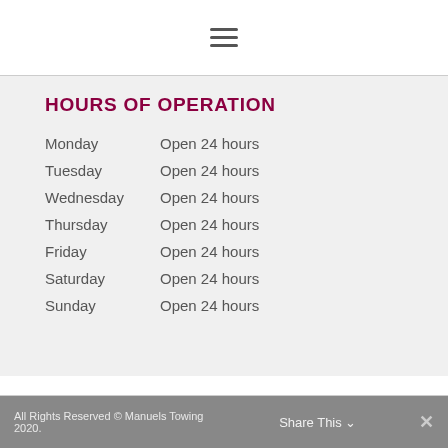[Figure (other): Hamburger menu icon (three horizontal lines)]
HOURS OF OPERATION
| Day | Hours |
| --- | --- |
| Monday | Open 24 hours |
| Tuesday | Open 24 hours |
| Wednesday | Open 24 hours |
| Thursday | Open 24 hours |
| Friday | Open 24 hours |
| Saturday | Open 24 hours |
| Sunday | Open 24 hours |
All Rights Reserved © Manuels Towing 2020.
Share This